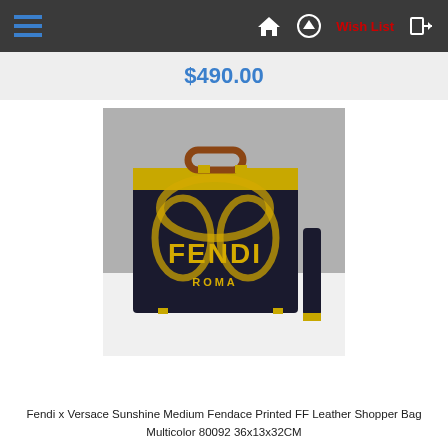Navigation bar with hamburger menu, home icon, up icon, Wish List, and login icon
$490.00
[Figure (photo): Fendi x Versace Sunshine Medium Fendace Printed FF Leather Shopper Bag in multicolor (black/gold) with a detachable black shoulder strap placed on a white surface against a grey background.]
Fendi x Versace Sunshine Medium Fendace Printed FF Leather Shopper Bag Multicolor 80092 36x13x32CM